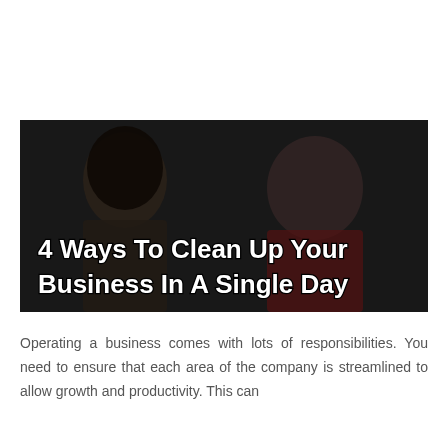[Figure (photo): Two women in an office setting — one with long dark curly hair seen from the side, another in a red top smiling — with a dark overlay and bold white text reading '4 Ways To Clean Up Your Business In A Single Day']
Operating a business comes with lots of responsibilities. You need to ensure that each area of the company is streamlined to allow growth and productivity. This can